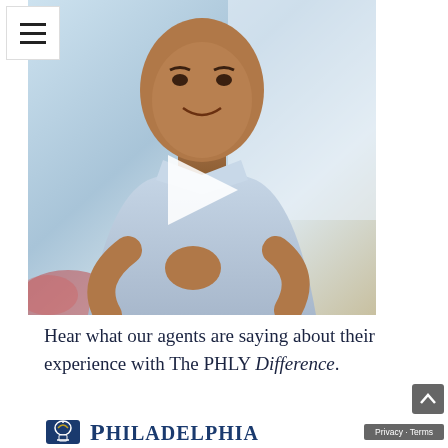[Figure (photo): Photograph of a bald man in a light blue dress shirt smiling, with a video play button overlay on the image. A hamburger menu icon is visible in the top-left corner.]
Hear what our agents are saying about their experience with The PHLY Difference.
[Figure (logo): Philadelphia Insurance Companies logo showing a Liberty Bell icon and the text PHILADELPHIA in navy blue]